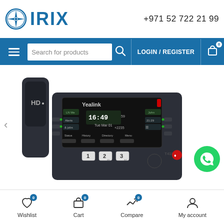IRIX +971 52 722 21 99
[Figure (screenshot): IRIX e-commerce website navigation bar with hamburger menu, search box, login/register link, and cart icon on blue background]
SOLD OUT
[Figure (photo): Yealink T41P HD IP desk phone with black handset, LCD display showing 16:49, keypad with buttons 1, 2, 3 visible]
Wishlist 0  Cart 0  Compare 0  My account